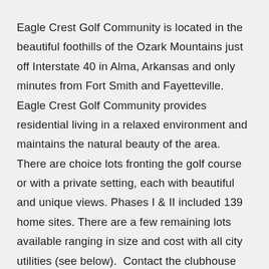Eagle Crest Golf Community is located in the beautiful foothills of the Ozark Mountains just off Interstate 40 in Alma, Arkansas and only minutes from Fort Smith and Fayetteville. Eagle Crest Golf Community provides residential living in a relaxed environment and maintains the natural beauty of the area. There are choice lots fronting the golf course or with a private setting, each with beautiful and unique views. Phases I & II included 139 home sites. There are a few remaining lots available ranging in size and cost with all city utilities (see below).  Contact the clubhouse for further information on available lots.